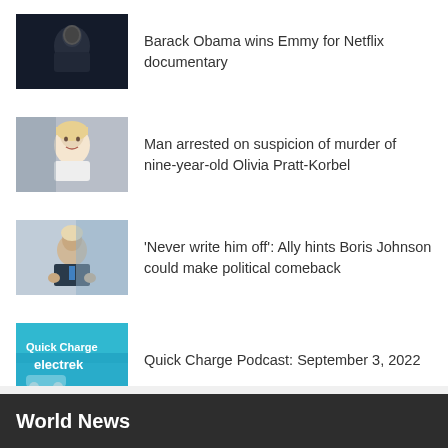[Figure (photo): Barack Obama in dark setting with blue lighting]
Barack Obama wins Emmy for Netflix documentary
[Figure (photo): Young blonde girl smiling, Olivia Pratt-Korbel]
Man arrested on suspicion of murder of nine-year-old Olivia Pratt-Korbel
[Figure (photo): Boris Johnson gesturing with hands at a podium]
'Never write him off': Ally hints Boris Johnson could make political comeback
[Figure (screenshot): Quick Charge electrek podcast logo on teal background]
Quick Charge Podcast: September 3, 2022
World News